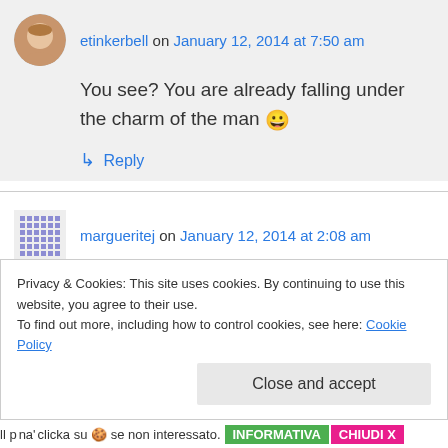etinkerbell on January 12, 2014 at 7:50 am
You see? You are already falling under the charm of the man 😀
↳ Reply
margueritej on January 12, 2014 at 2:08 am
To me he seems the type to lead you down the garden path and you don't even realize you doing so.
Privacy & Cookies: This site uses cookies. By continuing to use this website, you agree to their use.
To find out more, including how to control cookies, see here: Cookie Policy
Close and accept
ll p
na'
clicka su 🍪 se non interessato. INFORMATIVA CHIUDI X